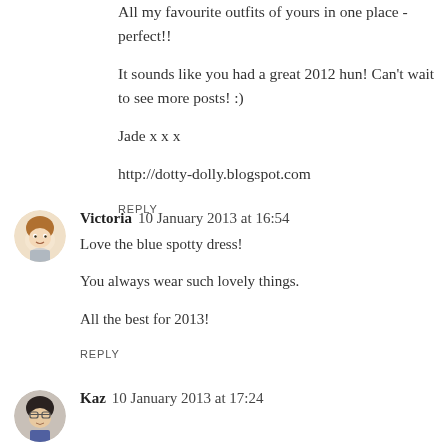All my favourite outfits of yours in one place - perfect!!
It sounds like you had a great 2012 hun! Can't wait to see more posts! :)
Jade x x x
http://dotty-dolly.blogspot.com
REPLY
Victoria  10 January 2013 at 16:54
Love the blue spotty dress!
You always wear such lovely things.
All the best for 2013!
REPLY
Kaz  10 January 2013 at 17:24